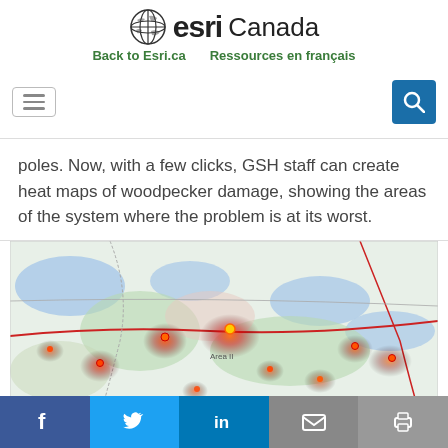esri Canada — Back to Esri.ca  Ressources en français
poles. Now, with a few clicks, GSH staff can create heat maps of woodpecker damage, showing the areas of the system where the problem is at its worst.
[Figure (map): Heat map showing woodpecker damage hotspots overlaid on a topographic map of a Canadian region, with red/orange/yellow clusters indicating areas of highest damage concentration.]
Facebook  Twitter  LinkedIn  Email  Print